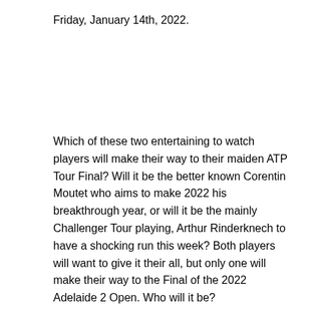Friday, January 14th, 2022.
Which of these two entertaining to watch players will make their way to their maiden ATP Tour Final? Will it be the better known Corentin Moutet who aims to make 2022 his breakthrough year, or will it be the mainly Challenger Tour playing, Arthur Rinderknech to have a shocking run this week? Both players will want to give it their all, but only one will make their way to the Final of the 2022 Adelaide 2 Open. Who will it be?